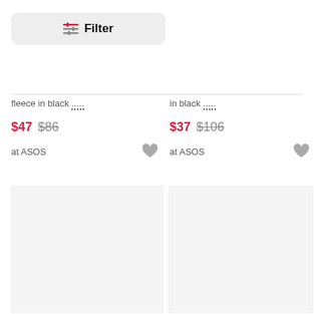Filter
fleece in black ...
in black ...
$47 $86
$37 $106
at ASOS
at ASOS
[Figure (other): Empty product image placeholder left]
[Figure (other): Empty product image placeholder right]